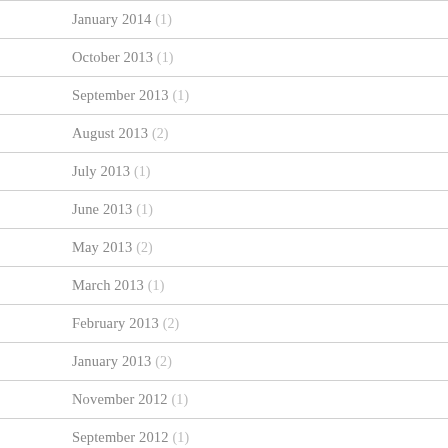January 2014 (1)
October 2013 (1)
September 2013 (1)
August 2013 (2)
July 2013 (1)
June 2013 (1)
May 2013 (2)
March 2013 (1)
February 2013 (2)
January 2013 (2)
November 2012 (1)
September 2012 (1)